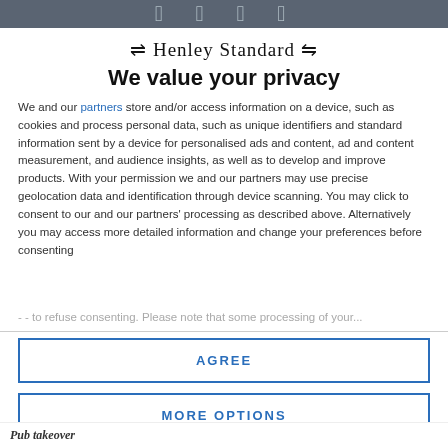The Henley Standard (decorative masthead)
Henley Standard
We value your privacy
We and our partners store and/or access information on a device, such as cookies and process personal data, such as unique identifiers and standard information sent by a device for personalised ads and content, ad and content measurement, and audience insights, as well as to develop and improve products. With your permission we and our partners may use precise geolocation data and identification through device scanning. You may click to consent to our and our partners' processing as described above. Alternatively you may access more detailed information and change your preferences before consenting or to refuse consenting. Please note that some processing of your...
AGREE
MORE OPTIONS
Pub takeover